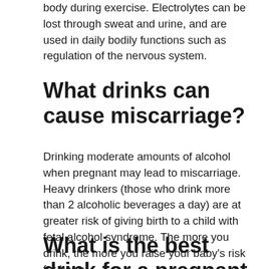body during exercise. Electrolytes can be lost through sweat and urine, and are used in daily bodily functions such as regulation of the nervous system.
What drinks can cause miscarriage?
Drinking moderate amounts of alcohol when pregnant may lead to miscarriage. Heavy drinkers (those who drink more than 2 alcoholic beverages a day) are at greater risk of giving birth to a child with fetal alcohol syndrome. The more you drink, the more you raise your baby’s risk for harm.
What is the best drink for a pregnant woman?